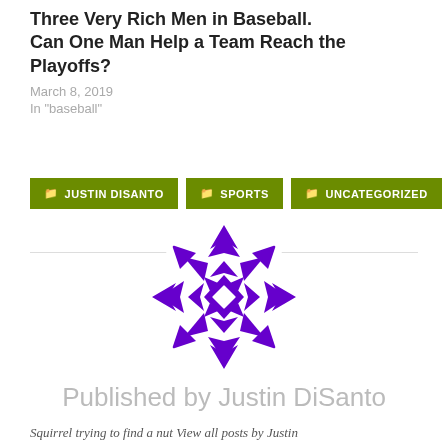Three Very Rich Men in Baseball. Can One Man Help a Team Reach the Playoffs?
March 8, 2019
In "baseball"
JUSTIN DISANTO
SPORTS
UNCATEGORIZED
[Figure (logo): Purple geometric diamond/quilt pattern circular logo]
Published by Justin DiSanto
Squirrel trying to find a nut View all posts by Justin